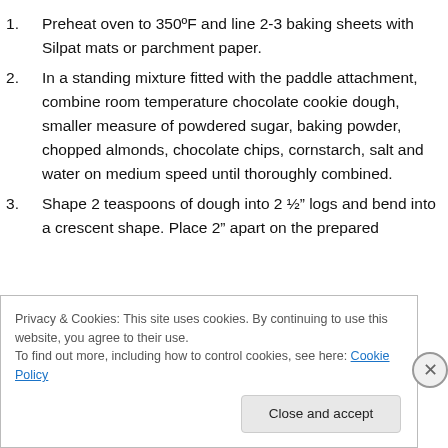Preheat oven to 350°F and line 2-3 baking sheets with Silpat mats or parchment paper.
In a standing mixture fitted with the paddle attachment, combine room temperature chocolate cookie dough, smaller measure of powdered sugar, baking powder, chopped almonds, chocolate chips, cornstarch, salt and water on medium speed until thoroughly combined.
Shape 2 teaspoons of dough into 2 ½" logs and bend into a crescent shape. Place 2" apart on the prepared
Privacy & Cookies: This site uses cookies. By continuing to use this website, you agree to their use.
To find out more, including how to control cookies, see here: Cookie Policy
Close and accept